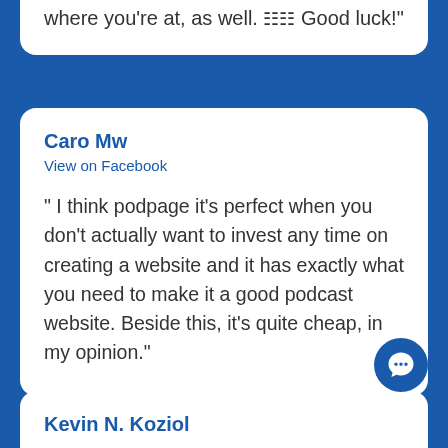everything that I needed. Hope it might help with where you're at, as well. 🟰🟰 Good luck!"
Caro Mw
View on Facebook
" I think podpage it's perfect when you don't actually want to invest any time on creating a website and it has exactly what you need to make it a good podcast website. Beside this, it's quite cheap, in my opinion."
Kevin N. Koziol